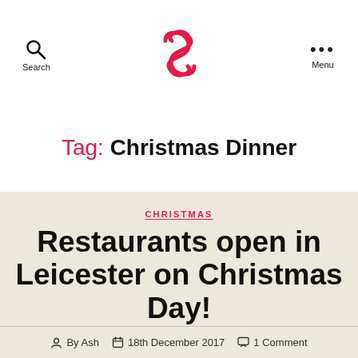Search | [Logo] | Menu
Tag: Christmas Dinner
CHRISTMAS
Restaurants open in Leicester on Christmas Day!
By Ash  18th December 2017  1 Comment